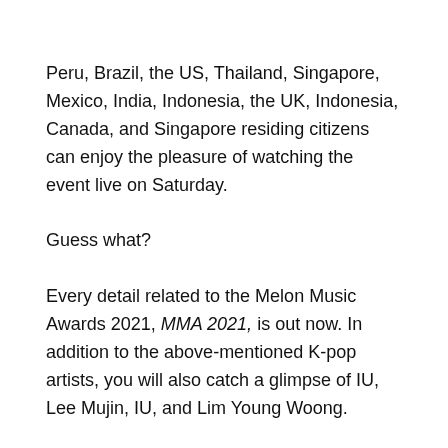Peru, Brazil, the US, Thailand, Singapore, Mexico, India, Indonesia, the UK, Indonesia, Canada, and Singapore residing citizens can enjoy the pleasure of watching the event live on Saturday.
Guess what?
Every detail related to the Melon Music Awards 2021, MMA 2021, is out now. In addition to the above-mentioned K-pop artists, you will also catch a glimpse of IU, Lee Mujin, IU, and Lim Young Woong.